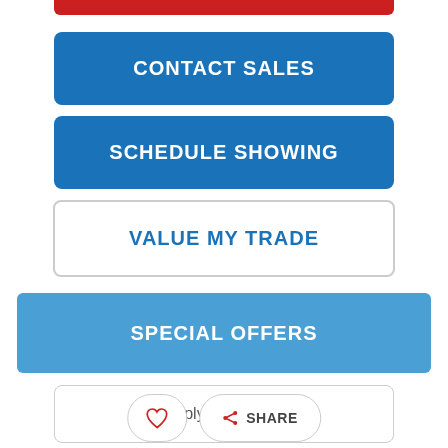[Figure (other): Red button strip at the top (partially visible, cropped)]
[Figure (other): Blue button labeled CONTACT SALES]
[Figure (other): Blue button labeled SCHEDULE SHOWING]
[Figure (other): White outlined button labeled VALUE MY TRADE in blue text]
[Figure (other): Blue button labeled SPECIAL OFFERS]
[Figure (other): White outlined button with dollar sign icon and Apply for Financing text]
[Figure (other): Heart icon button (favorite) and SHARE button at bottom]